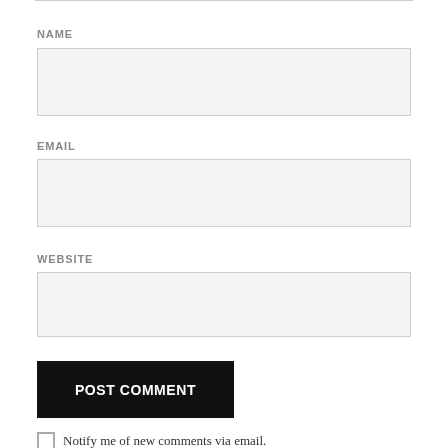NAME
[Figure (other): Empty text input field for NAME]
EMAIL
[Figure (other): Empty text input field for EMAIL]
WEBSITE
[Figure (other): Empty text input field for WEBSITE]
[Figure (other): Black button labeled POST COMMENT]
Notify me of new comments via email.
Notify me of new posts via email.